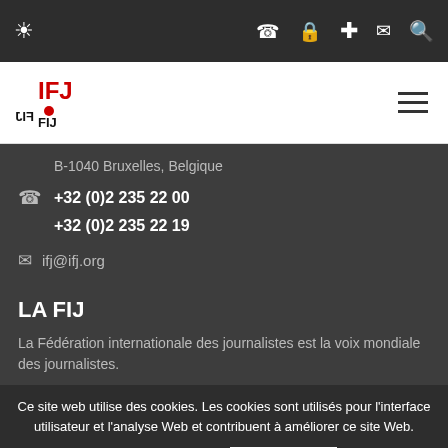IFJ navigation bar with globe icon, phone, lock, plus, mail, search icons
[Figure (logo): IFJ / FIJ logo in red and black with stacked text]
B-1040 Bruxelles, Belgique
+32 (0)2 235 22 00
+32 (0)2 235 22 19
ifj@ifj.org
LA FIJ
La Fédération internationale des journalistes est la voix mondiale des journalistes.
Ce site web utilise des cookies. Les cookies sont utilisés pour l'interface utilisateur et l'analyse Web et contribuent à améliorer ce site Web.
Plus d'infos
D'accord